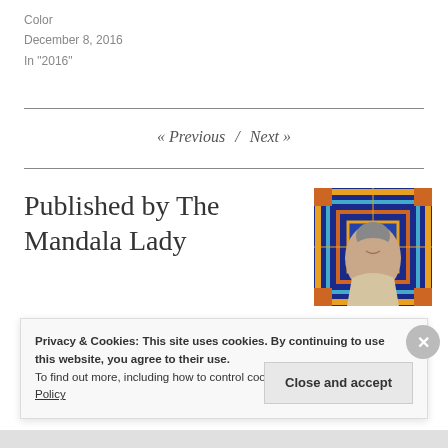Color
December 8, 2016
In "2016"
« Previous / Next »
Published by The Mandala Lady
[Figure (photo): Author photo: woman smiling in front of colorful mandala artwork]
Privacy & Cookies: This site uses cookies. By continuing to use this website, you agree to their use.
To find out more, including how to control cookies, see here: Cookie Policy
Close and accept